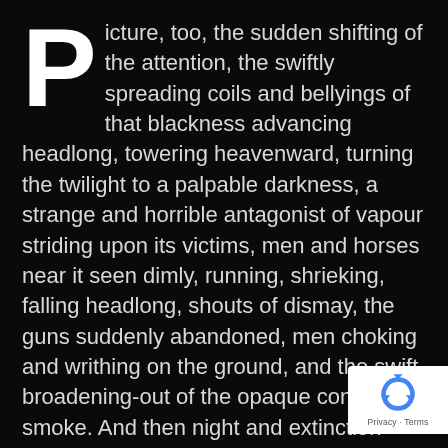Picture, too, the sudden shifting of the attention, the swiftly spreading coils and bellyings of that blackness advancing headlong, towering heavenward, turning the twilight to a palpable darkness, a strange and horrible antagonist of vapour striding upon its victims, men and horses near it seen dimly, running, shrieking, falling headlong, shouts of dismay, the guns suddenly abandoned, men choking and writhing on the ground, and the swift broadening-out of the opaque cone of smoke. And then night and extinction–nothing but a silent mass of impenetrable vapour hiding its dead.
[Figure (logo): Google reCAPTCHA badge with recycling-arrow logo and 'Privacy - Terms' text]